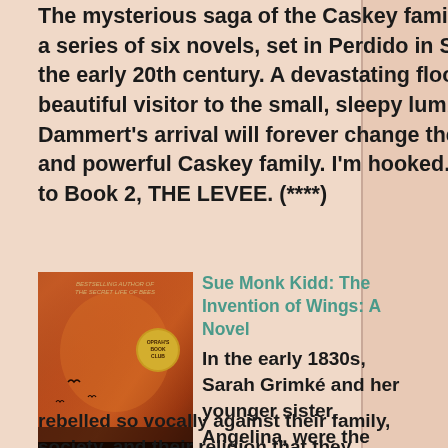The mysterious saga of the Caskey family begins in this first of a series of six novels, set in Perdido in South Alabama during the early 20th century. A devastating flood brings a strange and beautiful visitor to the small, sleepy lumber town. Elinor Dammert's arrival will forever change the town and the wealthy and powerful Caskey family. I'm hooked. I have now moved on to Book 2, THE LEVEE. (****)
[Figure (illustration): Book cover of 'The Invention of Wings' by Sue Monk Kidd, showing a dramatic orange/red sky background with dark silhouettes. Has an Oprah's Book Club badge. Author name and title displayed prominently.]
Sue Monk Kidd: The Invention of Wings: A Novel
In the early 1830s, Sarah Grimké and her younger sister, Angelina, were the most infamous women in America. They had rebelled so vocally against their family, society, and their religion that they were reviled, pursued, and exiled from their